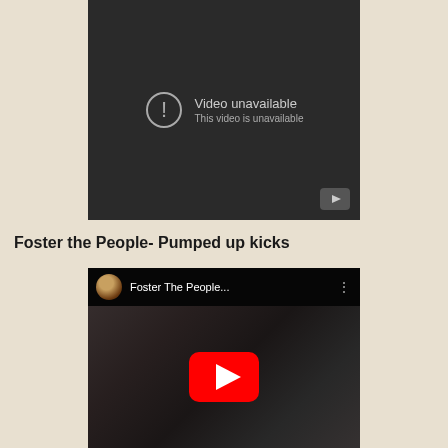[Figure (screenshot): Embedded video player showing 'Video unavailable - This video is unavailable' error message on dark background with a play button icon in the bottom-right corner.]
Foster the People- Pumped up kicks
[Figure (screenshot): Embedded YouTube video thumbnail for 'Foster The People...' showing a dark grayscale image with a red YouTube play button in the center. A circular avatar and channel name appear in the top bar.]